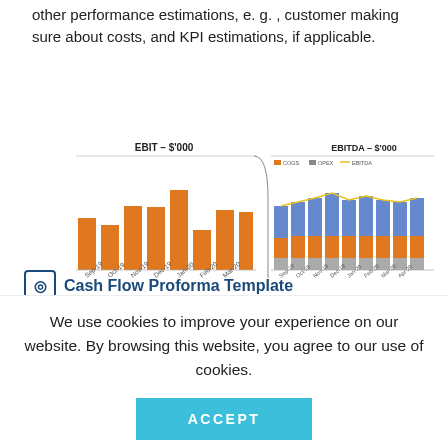other performance estimations, e. g. , customer making sure about costs, and KPI estimations, if applicable.
[Figure (grouped-bar-chart): Two overlapping charts: left shows EBIT in $'000 as orange bars across months Sep-19 to Mar-20+; right shows EBITDA in $'000 as stacked bars (blue, orange, grey) with a yellow line for EBITDA, months Sep-19 to Apr-20.]
Cash Flow Proforma Template
We use cookies to improve your experience on our website. By browsing this website, you agree to our use of cookies.